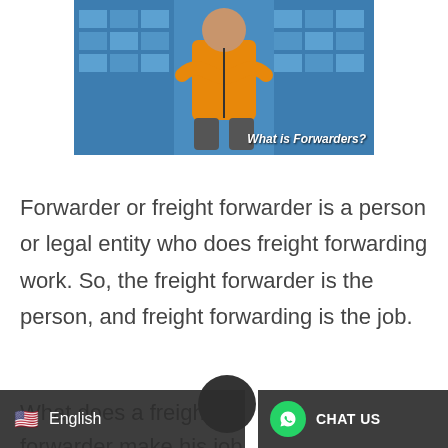[Figure (photo): A person in an orange jacket standing with arms crossed in a warehouse with blue storage containers in the background. Text overlay reads 'What is Forwarders?']
Forwarder or freight forwarder is a person or legal entity who does freight forwarding work. So, the freight forwarder is the person, and freight forwarding is the job.
What does a freight forwarder make his job success... is important for a